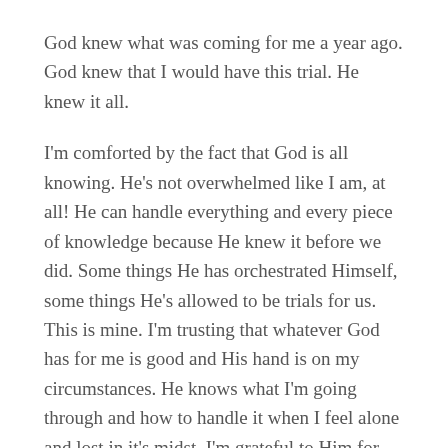God knew what was coming for me a year ago. God knew that I would have this trial. He knew it all.
I'm comforted by the fact that God is all knowing. He's not overwhelmed like I am, at all! He can handle everything and every piece of knowledge because He knew it before we did. Some things He has orchestrated Himself, some things He's allowed to be trials for us. This is mine. I'm trusting that whatever God has for me is good and His hand is on my circumstances. He knows what I'm going through and how to handle it when I feel alone and lost in it's midst. I'm grateful to Him for that.
Fear of the Lord is the foundation of true knowledge, but fools despise wisdom and